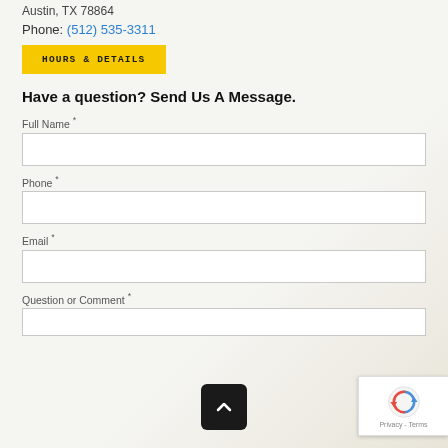Austin, TX 78864
Phone: (512) 535-3311
HOURS & DETAILS
Have a question? Send Us A Message.
Full Name *
Phone *
Email *
Question or Comment *